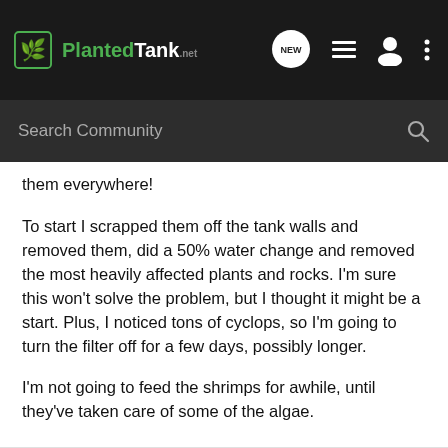Planted Tank
them everywhere!
To start I scrapped them off the tank walls and removed them, did a 50% water change and removed the most heavily affected plants and rocks. I'm sure this won't solve the problem, but I thought it might be a start. Plus, I noticed tons of cyclops, so I'm going to turn the filter off for a few days, possibly longer.
I'm not going to feed the shrimps for awhile, until they've taken care of some of the algae.
Any other suggestions for removing them without harming the shrimps?